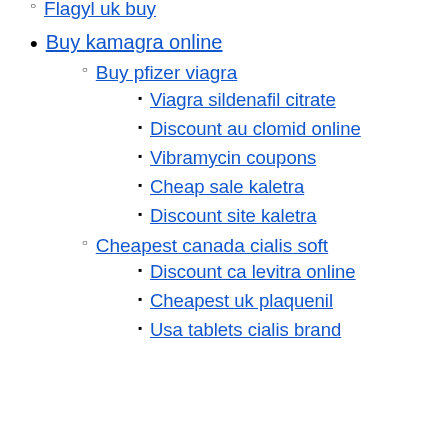Viagra home remedy
Flagyl uk buy
Buy kamagra online
Buy pfizer viagra
Viagra sildenafil citrate
Discount au clomid online
Vibramycin coupons
Cheap sale kaletra
Discount site kaletra
Cheapest canada cialis soft
Discount ca levitra online
Cheapest uk plaquenil
Usa tablets cialis brand